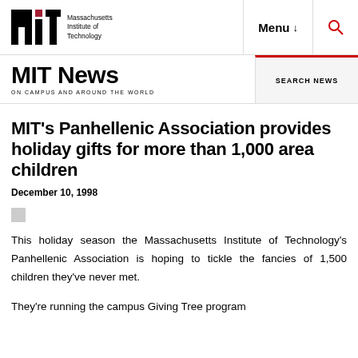MIT — Massachusetts Institute of Technology — Menu — Search
MIT News ON CAMPUS AND AROUND THE WORLD
MIT's Panhellenic Association provides holiday gifts for more than 1,000 area children
December 10, 1998
This holiday season the Massachusetts Institute of Technology's Panhellenic Association is hoping to tickle the fancies of 1,500 children they've never met.
They're running the campus Giving Tree program